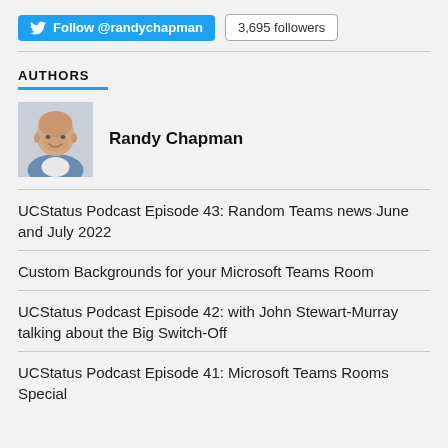[Figure (other): Twitter Follow button for @randychapman with '3,695 followers' badge]
AUTHORS
[Figure (photo): Headshot photo of Randy Chapman]
Randy Chapman
UCStatus Podcast Episode 43: Random Teams news June and July 2022
Custom Backgrounds for your Microsoft Teams Room
UCStatus Podcast Episode 42: with John Stewart-Murray talking about the Big Switch-Off
UCStatus Podcast Episode 41: Microsoft Teams Rooms Special